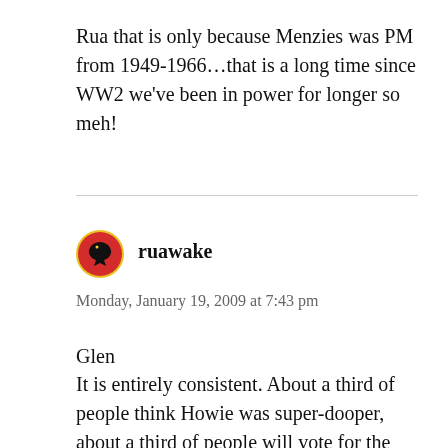Rua that is only because Menzies was PM from 1949-1966…that is a long time since WW2 we've been in power for longer so meh!
[Figure (other): Circular avatar icon with red/orange background and black bird silhouette]
ruawake
Monday, January 19, 2009 at 7:43 pm
Glen
It is entirely consistent. About a third of people think Howie was super-dooper, about a third of people will vote for the Libs.
The other 66% are the one's that Turnbull needs to worry about. 😛